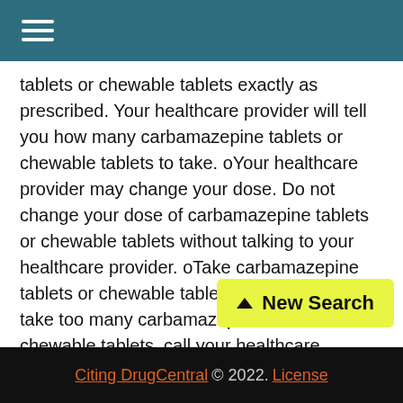≡
tablets or chewable tablets exactly as prescribed. Your healthcare provider will tell you how many carbamazepine tablets or chewable tablets to take. oYour healthcare provider may change your dose. Do not change your dose of carbamazepine tablets or chewable tablets without talking to your healthcare provider. oTake carbamazepine tablets or chewable tablets with food. oIf you take too many carbamazepine tablets or chewable tablets, call your healthcare provider or local Poison Control Center right away. oDo not drink alcohol or take other drugs that make you sleepy or dizzy while taking carbamazepine tablets or chewable tablets until you talk to your healthcare provider. Carbamazepine tablets or chewable tablets taken with
[Figure (other): Yellow 'New Search' button with upward arrow icon]
Citing DrugCentral © 2022. License